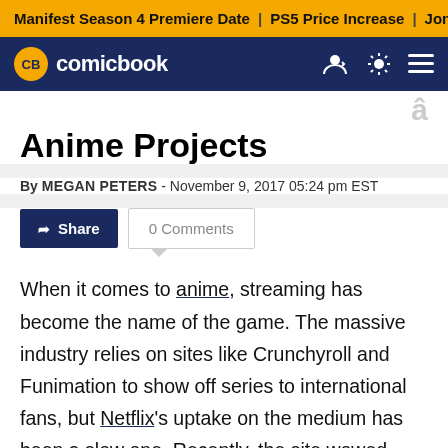Manifest Season 4 Premiere Date | PS5 Price Increase | Jon M
CB comicbook
Anime Projects
By MEGAN PETERS - November 9, 2017 05:24 pm EST
When it comes to anime, streaming has become the name of the game. The massive industry relies on sites like Crunchyroll and Funimation to show off series to international fans, but Netflix's uptake on the medium has been a slow one. Recently, the site wowed audiences with its anime-esque take on Castlevania, but that is not the